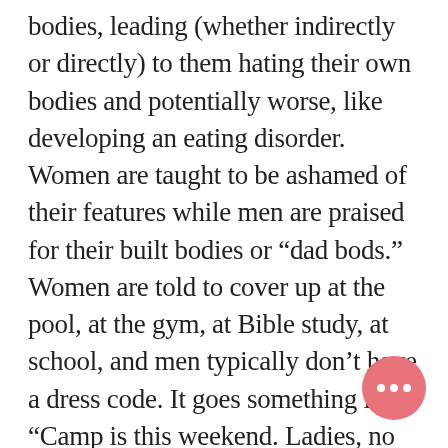bodies, leading (whether indirectly or directly) to them hating their own bodies and potentially worse, like developing an eating disorder. Women are taught to be ashamed of their features while men are praised for their built bodies or “dad bods.” Women are told to cover up at the pool, at the gym, at Bible study, at school, and men typically don’t have a dress code. It goes something like, “Camp is this weekend. Ladies, no Nike shorts, (go buy basketball shorts you’re never going to wear again) 1 piece swimsuits with no cut outs only (maybe wear a shirt over it too, or some shorts), no leggings, no tank tops, no visible s…ts bras, dresses must be knee lengt… we clear? Guys, bring enough clothes